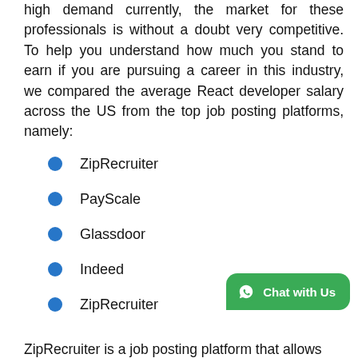high demand currently, the market for these professionals is without a doubt very competitive. To help you understand how much you stand to earn if you are pursuing a career in this industry, we compared the average React developer salary across the US from the top job posting platforms, namely:
ZipRecruiter
PayScale
Glassdoor
Indeed
ZipRecruiter
ZipRecruiter is a job posting platform that allows